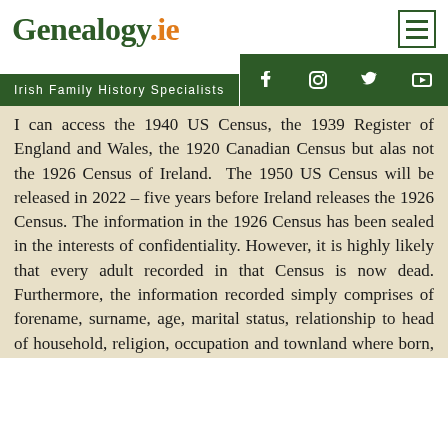Genealogy.ie
Irish Family History Specialists
I can access the 1940 US Census, the 1939 Register of England and Wales, the 1920 Canadian Census but alas not the 1926 Census of Ireland. The 1950 US Census will be released in 2022 – five years before Ireland releases the 1926 Census. The information in the 1926 Census has been sealed in the interests of confidentiality. However, it is highly likely that every adult recorded in that Census is now dead. Furthermore, the information recorded simply comprises of forename, surname, age, marital status, relationship to head of household, religion, occupation and townland where born, employer, and if unemployed normal profession – and so I wonder why the need for secrecy. Why can't the 1926 Census be released?